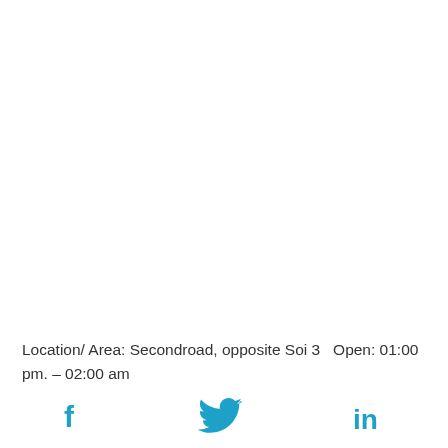Location/ Area: Secondroad, opposite Soi 3   Open: 01:00 pm. – 02:00 am
[Figure (other): Three social media icons: Facebook (f), Twitter (bird), LinkedIn (in) in blue]